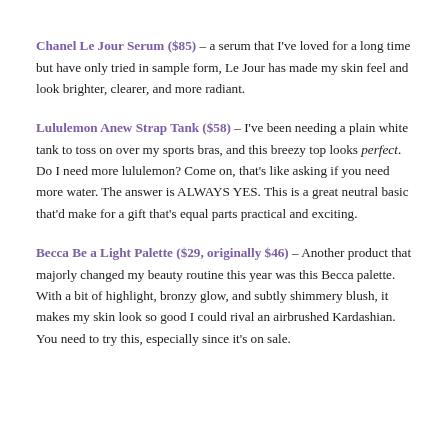Chanel Le Jour Serum ($85) – a serum that I've loved for a long time but have only tried in sample form, Le Jour has made my skin feel and look brighter, clearer, and more radiant.
Lululemon Anew Strap Tank ($58) – I've been needing a plain white tank to toss on over my sports bras, and this breezy top looks perfect. Do I need more lululemon? Come on, that's like asking if you need more water. The answer is ALWAYS YES. This is a great neutral basic that'd make for a gift that's equal parts practical and exciting.
Becca Be a Light Palette ($29, originally $46) – Another product that majorly changed my beauty routine this year was this Becca palette. With a bit of highlight, bronzy glow, and subtly shimmery blush, it makes my skin look so good I could rival an airbrushed Kardashian. You need to try this, especially since it's on sale.